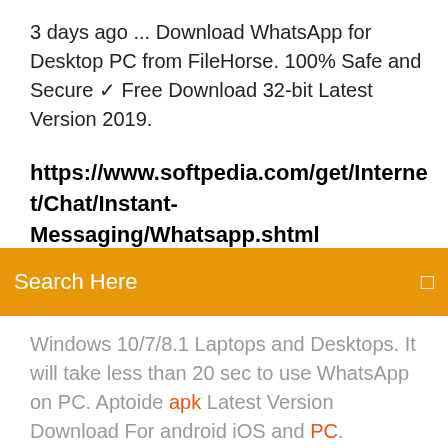3 days ago ... Download WhatsApp for Desktop PC from FileHorse. 100% Safe and Secure ✓ Free Download 32-bit Latest Version 2019.
https://www.softpedia.com/get/Internet/Chat/Instant-Messaging/Whatsapp.shtml
Search Here
Windows 10/7/8.1 Laptops and Desktops. It will take less than 20 sec to use WhatsApp on PC. Aptoide apk Latest Version Download For android iOS and PC. Download Aptoide Apk For Android and iOS. Aptoide App Latest Beta and Lite app Version For Pc Android and IOS users. GBWhatsApp Download APK Latest v6.85 | How to install on... Explore amazing features of GBWhatsApp Latest Version. See how to download GB WhatsApp APK for Android & PC Windows. Also check how to use / update the app.